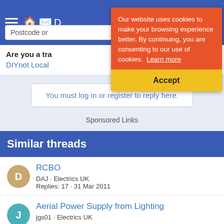Navigation bar with hamburger menu, icons, and postcode input
Our website uses cookies to make your browsing experience better. By continuing, you are consenting to our use of cookies. Learn more
Accept
Are you a tra...
DIYnot Local
You must log in or register to reply here.
Sponsored Links
Similar threads
RCBO
DAJ · Electrics UK
Replies: 17 · 31 Mar 2011
Aerial Power Supply from Lighting
jgs01 · Electrics UK